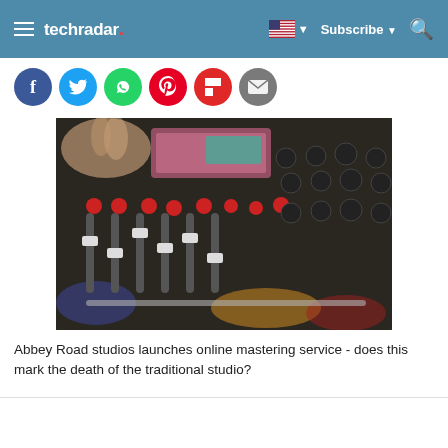techradar | Subscribe | Search
[Figure (screenshot): Social sharing icons row: Facebook, Twitter, WhatsApp, Pinterest, Flipboard, Email]
[Figure (photo): Close-up photograph of a professional audio mixing console with knobs, faders, and red-capped switches. A hand is visible reaching over the equipment.]
Abbey Road studios launches online mastering service - does this mark the death of the traditional studio?